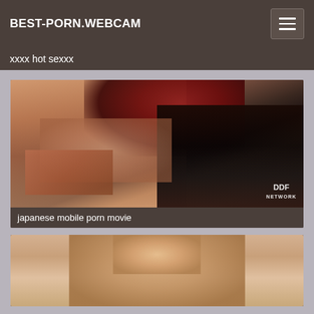BEST-PORN.WEBCAM
xxxx hot sexxx
[Figure (photo): Video thumbnail showing two women, one with red hair and one with dark hair, in an intimate scene. DDF Network watermark visible in bottom right.]
japanese mobile porn movie
[Figure (photo): Partial video thumbnail showing a blonde woman from the shoulders up against a beige background.]